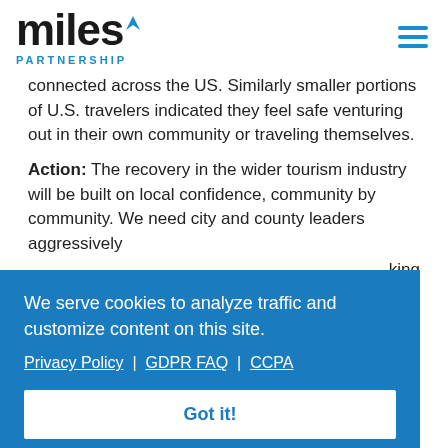miles PARTNERSHIP
connected across the US. Similarly smaller portions of U.S. travelers indicated they feel safe venturing out in their own community or traveling themselves.
Action: The recovery in the wider tourism industry will be built on local confidence, community by community. We need city and county leaders aggressively
king
e out
We serve cookies to analyze traffic and customize content on this site.
Privacy Policy | GDPR FAQ | CCPA
Got it!
5. Rebuilding Traveler Confidence